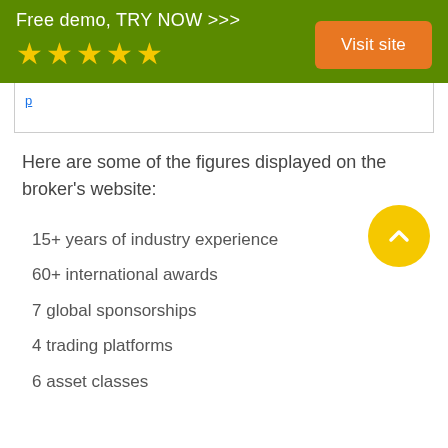Free demo, TRY NOW >>>
[Figure (other): Five gold star rating icons]
Visit site
Here are some of the figures displayed on the broker's website:
15+ years of industry experience
60+ international awards
7 global sponsorships
4 trading platforms
6 asset classes